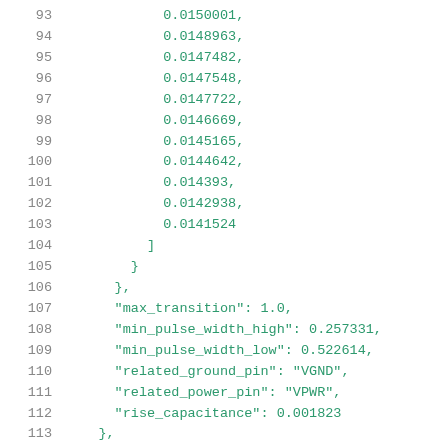93    0.0150001,
94    0.0148963,
95    0.0147482,
96    0.0147548,
97    0.0147722,
98    0.0146669,
99    0.0145165,
100   0.0144642,
101   0.014393,
102   0.0142938,
103   0.0141524
104        ]
105      }
106    },
107    "max_transition": 1.0,
108    "min_pulse_width_high": 0.257331,
109    "min_pulse_width_low": 0.522614,
110    "related_ground_pin": "VGND",
111    "related_power_pin": "VPWR",
112    "rise_capacitance": 0.001823
113  },